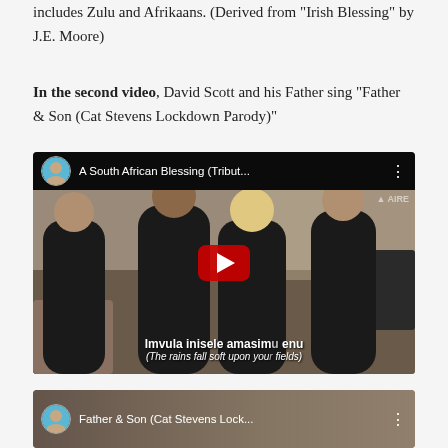includes Zulu and Afrikaans. (Derived from "Irish Blessing" by J.E. Moore)
In the second video, David Scott and his Father sing "Father & Son (Cat Stevens Lockdown Parody)"
[Figure (screenshot): YouTube embedded video thumbnail showing 'A South African Blessing (Tribut...' with four people singing in black clothes, a YouTube play button in the center, subtitle text 'Imvula inisele amasimu enu (The rains fall soft upon your fields)' at the bottom]
[Figure (screenshot): YouTube embedded video thumbnail showing 'Father & Son (Cat Stevens Lock...' partially visible at bottom of page]